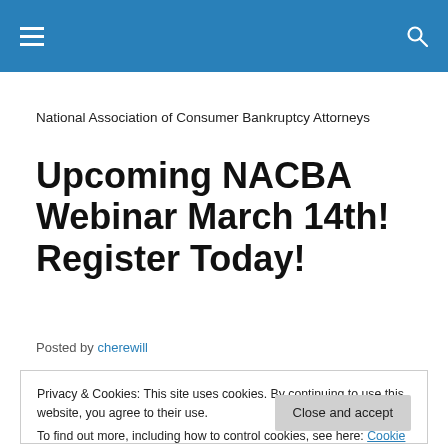National Association of Consumer Bankruptcy Attorneys
Upcoming NACBA Webinar March 14th! Register Today!
Posted by cherewill
Privacy & Cookies: This site uses cookies. By continuing to use this website, you agree to their use.
To find out more, including how to control cookies, see here: Cookie Policy
Close and accept